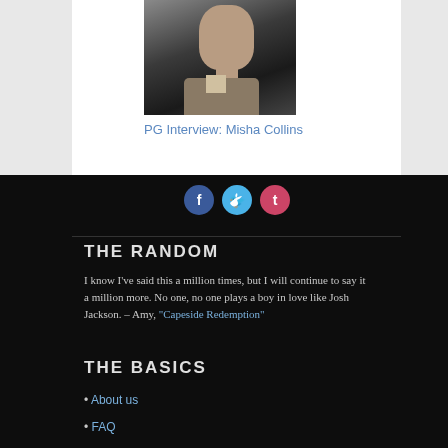[Figure (photo): Portrait photo of Misha Collins, a man in a suit/jacket with collar, dark background]
PG Interview: Misha Collins
[Figure (infographic): Social media icons: Facebook (f), Twitter (bird), Tumblr (t) in circular buttons]
THE RANDOM
I know I've said this a million times, but I will continue to say it a million more. No one, no one plays a boy in love like Josh Jackson. – Amy, "Capeside Redemption"
THE BASICS
About us
FAQ